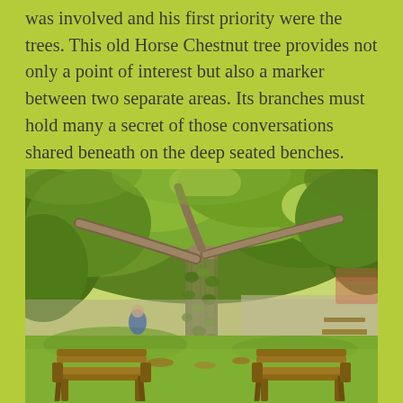was involved and his first priority were the trees. This old Horse Chestnut tree provides not only a point of interest but also a marker between two separate areas. Its branches must hold many a secret of those conversations shared beneath on the deep seated benches.
[Figure (photo): A large old Horse Chestnut tree with ivy climbing its trunk, surrounded by green foliage and grass. In the foreground are two wooden benches placed on either side beneath the tree. A stone wall is visible in the background.]